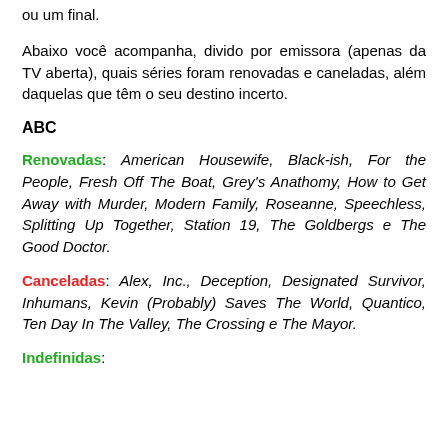ou um final.
Abaixo você acompanha, divido por emissora (apenas da TV aberta), quais séries foram renovadas e caneladas, além daquelas que têm o seu destino incerto.
ABC
Renovadas: American Housewife, Black-ish, For the People, Fresh Off The Boat, Grey's Anathomy, How to Get Away with Murder, Modern Family, Roseanne, Speechless, Splitting Up Together, Station 19, The Goldbergs e The Good Doctor.
Canceladas: Alex, Inc., Deception, Designated Survivor, Inhumans, Kevin (Probably) Saves The World, Quantico, Ten Day In The Valley, The Crossing e The Mayor.
Indefinidas: ...